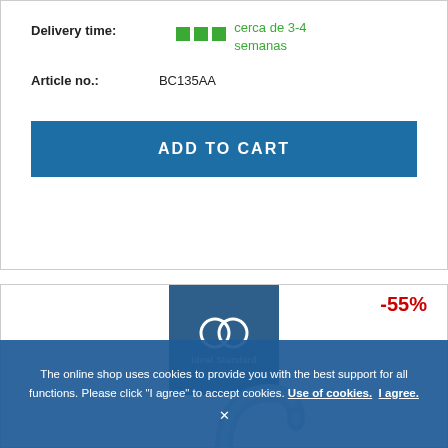Delivery time: cerca de 3-4 semanas
Article no.: BC135AA
ADD TO CART
[Figure (logo): Ideal Standard brand logo — two interlocking rings on dark blue square background with 'Ideal Standard' text below]
-55%
[Figure (photo): Chrome kitchen faucet with tall curved spout and single lever handle by Ideal Standard]
The online shop uses cookies to provide you with the best support for all functions. Please click "I agree" to accept cookies. Use of cookies.  I agree.